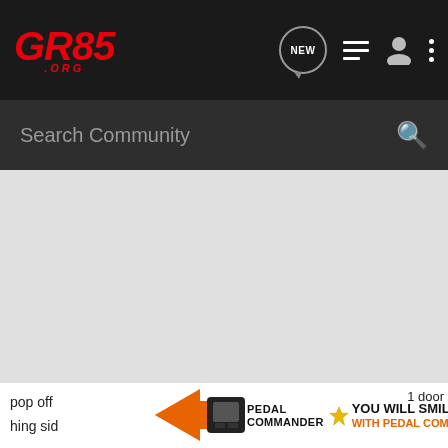GR86.ORG — Navigation bar with logo, NEW chat, list, user, and menu icons
Search Community
[Figure (screenshot): Light grey blank content area, appears to be a forum or community page content region]
pop off  hing sid
[Figure (infographic): Pedal Commander advertisement banner: orange/black arrow graphic, device image, PEDAL COMMANDER logo with star, text YOU WILL SMILE 100% WITH PEDAL COMMANDER]